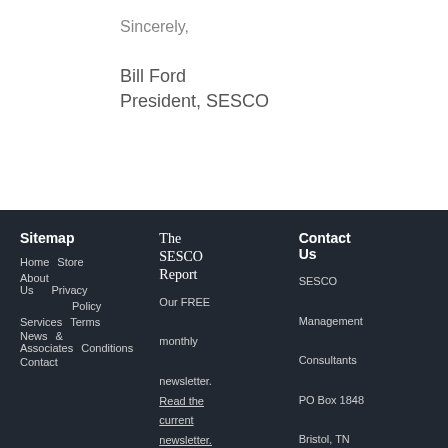Sincerely,
Bill Ford
President, SESCO
Sitemap
Home Store
About Us Privacy Policy
Services Terms
News & Associates Conditions
Contact

The SESCO Report
Our FREE monthly newsletter.
Read the current newsletter.

Contact Us
SESCO Management Consultants PO Box 1848 Bristol, TN 37620 (423) 764-4127